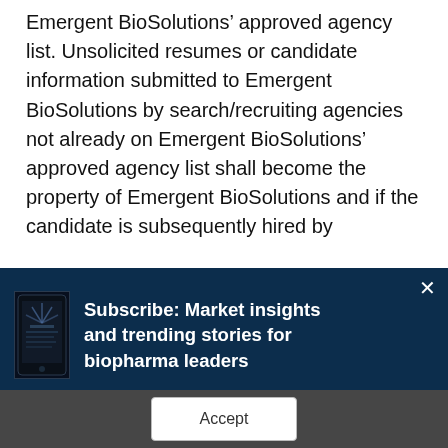Emergent BioSolutions' approved agency list. Unsolicited resumes or candidate information submitted to Emergent BioSolutions by search/recruiting agencies not already on Emergent BioSolutions' approved agency list shall become the property of Emergent BioSolutions and if the candidate is subsequently hired by
Subscribe: Market insights and trending stories for biopharma leaders
We use cookies to give you a better BioSpace experience. By continuing to use our site, you are agreeing to the use of cookies as set in our Privacy Policy.
Accept